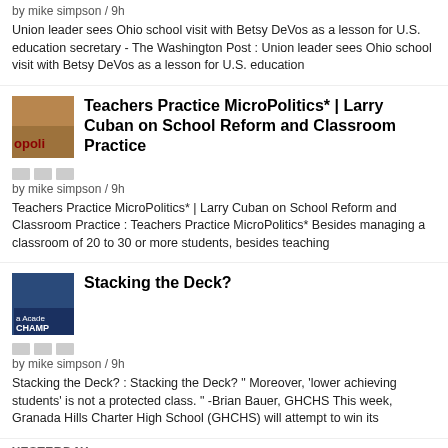by mike simpson / 9h
Union leader sees Ohio school visit with Betsy DeVos as a lesson for U.S. education secretary - The Washington Post : Union leader sees Ohio school visit with Betsy DeVos as a lesson for U.S. education
[Figure (photo): Thumbnail image with orange/brown background and red text 'opoli']
Teachers Practice MicroPolitics* | Larry Cuban on School Reform and Classroom Practice
by mike simpson / 9h
Teachers Practice MicroPolitics* | Larry Cuban on School Reform and Classroom Practice : Teachers Practice MicroPolitics* Besides managing a classroom of 20 to 30 or more students, besides teaching
[Figure (photo): Thumbnail image with dark blue/navy background showing group of people, text 'a Acade' and 'CHAMP']
Stacking the Deck?
by mike simpson / 9h
Stacking the Deck? : Stacking the Deck? " Moreover, 'lower achieving students' is not a protected class. " -Brian Bauer, GHCHS This week, Granada Hills Charter High School (GHCHS) will attempt to win its
YESTERDAY